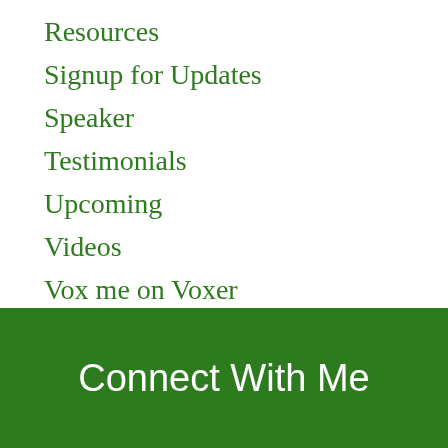Resources
Signup for Updates
Speaker
Testimonials
Upcoming
Videos
Vox me on Voxer
Watch Kevin Speak
Connect With Me